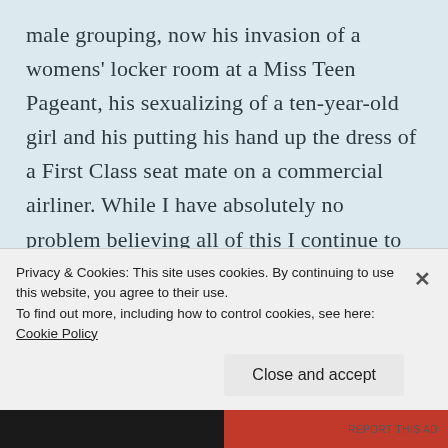male grouping, now his invasion of a womens' locker room at a Miss Teen Pageant, his sexualizing of a ten-year-old girl and his putting his hand up the dress of a First Class seat mate on a commercial airliner. While I have absolutely no problem believing all of this I continue to have the question Why? Not why did he do it but why weren't we told a long time ago, like
Privacy & Cookies: This site uses cookies. By continuing to use this website, you agree to their use.
To find out more, including how to control cookies, see here: Cookie Policy
Close and accept